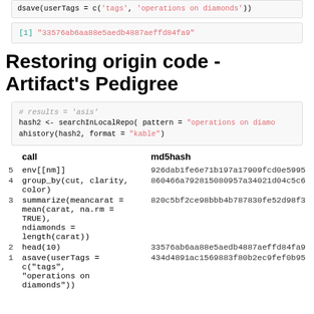dsave(userTags = c('tags', 'operations on diamonds'))
[1] "33576ab6aa88e5aedb4887aeffd84fa9"
Restoring origin code - Artifact's Pedigree
# results = 'asis'
hash2 <- searchInLocalRepo( pattern = "operations on diamo
ahistory(hash2, format = "kable")
|  | call | md5hash |
| --- | --- | --- |
| 5 | env[[nm]] | 926dab1fe6e71b197a17909fcd0e5995 |
| 4 | group_by(cut, clarity, color) | 860466a792815080957a34021d04c5c6 |
| 3 | summarize(meancarat =
mean(carat, na.rm = TRUE),
ndiamonds = length(carat)) | 820c5bf2ce98bbb4b787830fe52d98f3 |
| 2 | head(10) | 33576ab6aa88e5aedb4887aeffd84fa9 |
| 1 | asave(userTags = c("tags",
"operations on diamonds")) | 434d4891ac1569883f80b2ec9fef0b95 |